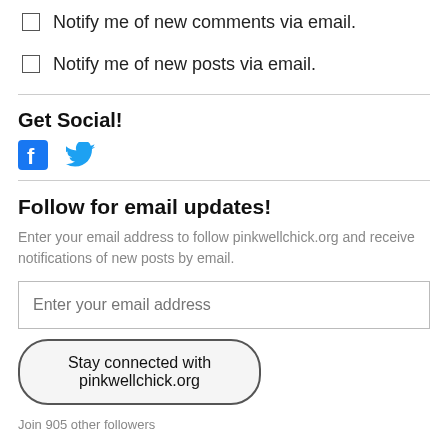Notify me of new comments via email.
Notify me of new posts via email.
Get Social!
[Figure (other): Facebook and Twitter social media icons]
Follow for email updates!
Enter your email address to follow pinkwellchick.org and receive notifications of new posts by email.
Enter your email address
Stay connected with pinkwellchick.org
Join 905 other followers